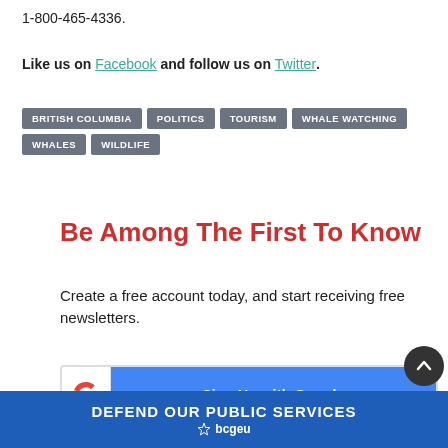1-800-465-4336.
Like us on Facebook and follow us on Twitter.
BRITISH COLUMBIA
POLITICS
TOURISM
WHALE WATCHING
WHALES
WILDLIFE
Be Among The First To Know
Create a free account today, and start receiving free newsletters.
[Figure (screenshot): Sign Up with Google button with Google logo icon on left and blue button with text 'Sign Up with Google']
[Figure (infographic): Blue banner ad: DEFEND OUR PUBLIC SERVICES with bcgeu logo]